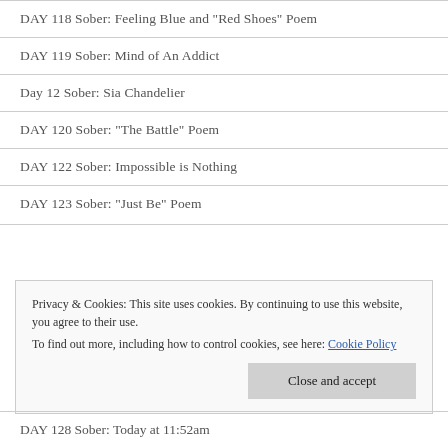DAY 118 Sober: Feeling Blue and "Red Shoes" Poem
DAY 119 Sober: Mind of An Addict
Day 12 Sober: Sia Chandelier
DAY 120 Sober: "The Battle" Poem
DAY 122 Sober: Impossible is Nothing
DAY 123 Sober: "Just Be" Poem
Privacy & Cookies: This site uses cookies. By continuing to use this website, you agree to their use. To find out more, including how to control cookies, see here: Cookie Policy
DAY 128 Sober: Today at 11:52am